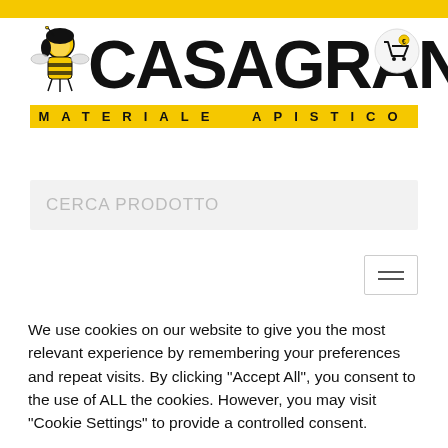[Figure (logo): Casagrande Materiale Apistico logo with bee illustration and yellow banner subtitle]
CERCA PRODOTTO
We use cookies on our website to give you the most relevant experience by remembering your preferences and repeat visits. By clicking "Accept All", you consent to the use of ALL the cookies. However, you may visit "Cookie Settings" to provide a controlled consent.
Cookie Settings
Accept All